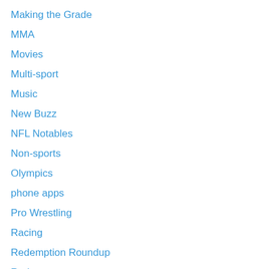Making the Grade
MMA
Movies
Multi-sport
Music
New Buzz
NFL Notables
Non-sports
Olympics
phone apps
Pro Wrestling
Racing
Redemption Roundup
Rodeo
Soccer
Softball
Sports Art
Stamps
Storage
Sunday Six